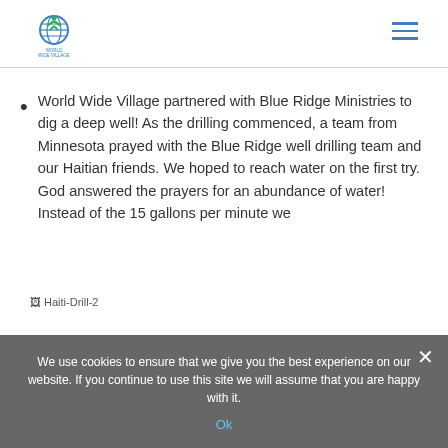World Wide Village logo and navigation
World Wide Village partnered with Blue Ridge Ministries to dig a deep well!  As the drilling commenced, a team from Minnesota prayed with the Blue Ridge well drilling team and our Haitian friends.  We hoped to reach water on the first try.  God answered the prayers for an abundance of water!  Instead of the 15 gallons per minute we
[Figure (photo): Haiti-Drill-2 broken image placeholder]
We use cookies to ensure that we give you the best experience on our website. If you continue to use this site we will assume that you are happy with it.
Ok